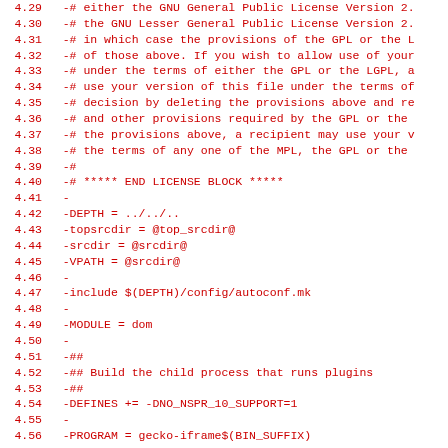Code diff showing removed lines (in red) from a Makefile, lines 4.29 through 4.61, including license block end comment, build variables (DEPTH, topsrcdir, srcdir, VPATH), include directive, MODULE, DEFINES, PROGRAM, CPPSRCS assignments.